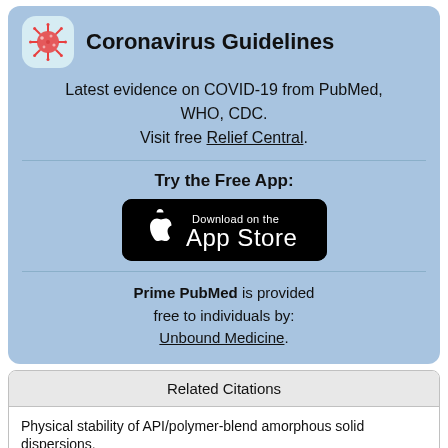Coronavirus Guidelines
Latest evidence on COVID-19 from PubMed, WHO, CDC. Visit free Relief Central.
Try the Free App:
[Figure (logo): Download on the App Store button]
Prime PubMed is provided free to individuals by: Unbound Medicine.
Related Citations
Physical stability of API/polymer-blend amorphous solid dispersions.
Thermodynamic Modeling of Solvent-Impact on Phase Separation in